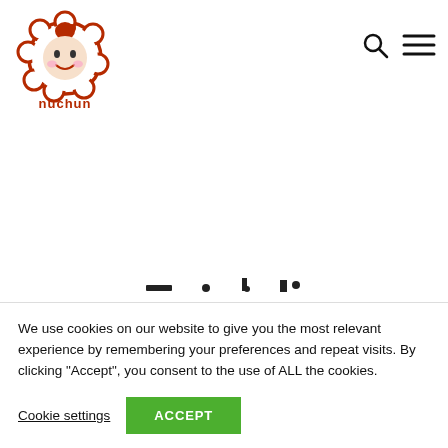[Figure (logo): Nuchun brand logo: a cartoon girl face inside a cloud/cookie shape outline in dark red, with the text 'nuchun' below in dark red]
[Figure (other): Navigation icons: search icon (magnifying glass) and hamburger menu icon (three horizontal lines)]
[Figure (other): Decorative divider strip with small geometric/dot symbols in dark color]
We use cookies on our website to give you the most relevant experience by remembering your preferences and repeat visits. By clicking “Accept”, you consent to the use of ALL the cookies.
Cookie settings
ACCEPT